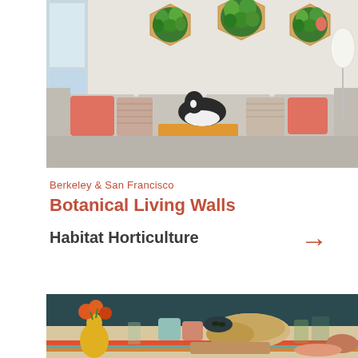[Figure (photo): Interior living room photo showing a grey sofa with pink and patterned pillows, a black and white dog lying on the sofa, and three hexagonal wooden wall planters with lush green plants mounted on the white wall above.]
Berkeley & San Francisco
Botanical Living Walls
Habitat Horticulture
[Figure (photo): Close-up styled tablescape photo with colorful ceramic cups and plates, a yellow vase with orange flowers, glasses, a wooden board, and rustic bread loaves on a colorful tablecloth.]